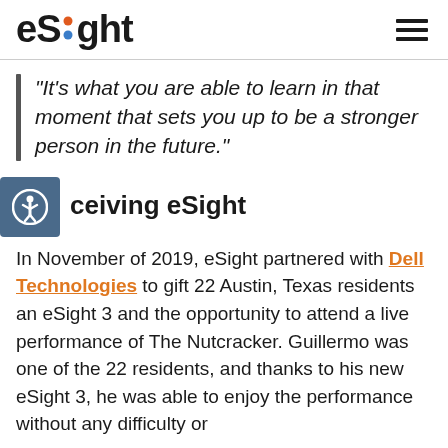eSight
“It’s what you are able to learn in that moment that sets you up to be a stronger person in the future.”
ceiving eSight
In November of 2019, eSight partnered with Dell Technologies to gift 22 Austin, Texas residents an eSight 3 and the opportunity to attend a live performance of The Nutcracker. Guillermo was one of the 22 residents, and thanks to his new eSight 3, he was able to enjoy the performance without any difficulty or